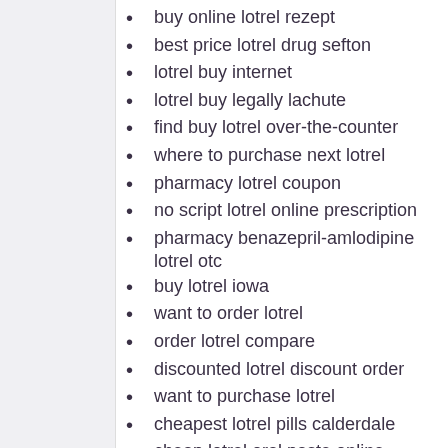buy online lotrel rezept
best price lotrel drug sefton
lotrel buy internet
lotrel buy legally lachute
find buy lotrel over-the-counter
where to purchase next lotrel
pharmacy lotrel coupon
no script lotrel online prescription
pharmacy benazepril-amlodipine lotrel otc
buy lotrel iowa
want to order lotrel
order lotrel compare
discounted lotrel discount order
want to purchase lotrel
cheapest lotrel pills calderdale
cheap lotrel oral paste online